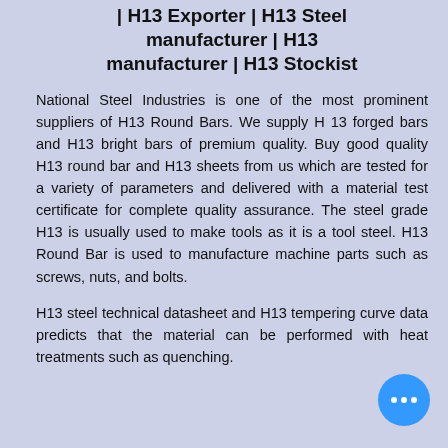| H13 Exporter | H13 Steel manufacturer | H13 manufacturer | H13 Stockist
National Steel Industries is one of the most prominent suppliers of H13 Round Bars. We supply H 13 forged bars and H13 bright bars of premium quality. Buy good quality H13 round bar and H13 sheets from us which are tested for a variety of parameters and delivered with a material test certificate for complete quality assurance. The steel grade H13 is usually used to make tools as it is a tool steel. H13 Round Bar is used to manufacture machine parts such as screws, nuts, and bolts.
H13 steel technical datasheet and H13 tempering curve data predicts that the material can be performed with heat treatments such as quenching.